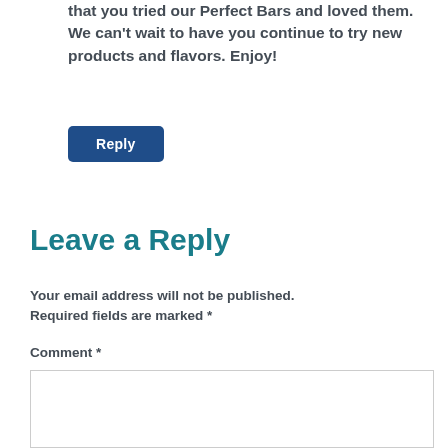that you tried our Perfect Bars and loved them. We can't wait to have you continue to try new products and flavors. Enjoy!
Reply
Leave a Reply
Your email address will not be published. Required fields are marked *
Comment *